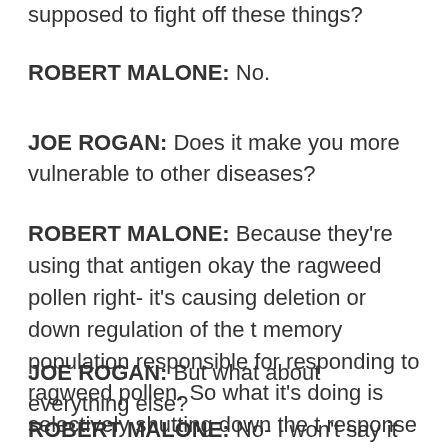supposed to fight off these things?
ROBERT MALONE: No.
JOE ROGAN: Does it make you more vulnerable to other diseases?
ROBERT MALONE: Because they’re using that antigen okay the ragweed pollen right- it’s causing deletion or down regulation of the t memory population responsible for responding to ragweed pollen. So what it’s doing is selectively shutting down the t response against that antigen.
JOE ROGAN: But what about everything else?
ROBERT MALONE: No- I won’t say it won’t